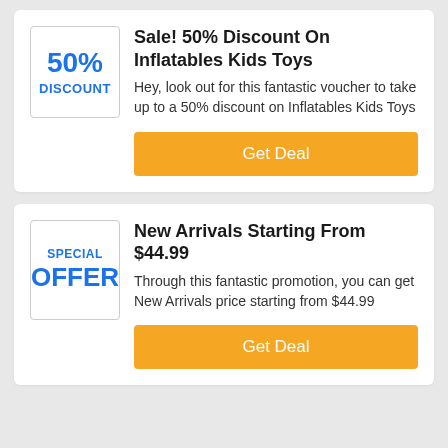Sale! 50% Discount On Inflatables Kids Toys
Hey, look out for this fantastic voucher to take up to a 50% discount on Inflatables Kids Toys
Get Deal
New Arrivals Starting From $44.99
Through this fantastic promotion, you can get New Arrivals price starting from $44.99
Get Deal